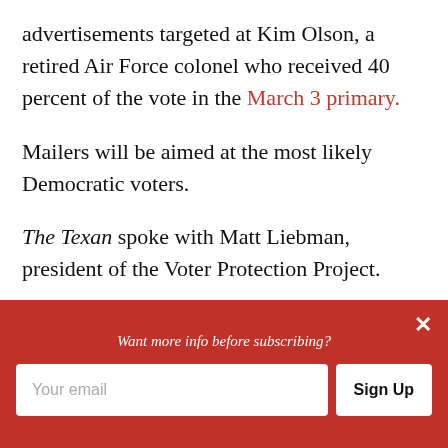advertisements targeted at Kim Olson, a retired Air Force colonel who received 40 percent of the vote in the March 3 primary.
Mailers will be aimed at the most likely Democratic voters.
The Texan spoke with Matt Liebman, president of the Voter Protection Project.
“We’re a national voting rights group formed in
[Figure (other): Red subscription banner with text 'Want more info before subscribing?', an email input field placeholder 'Your email', a 'Sign Up' button, and a close (X) button.]